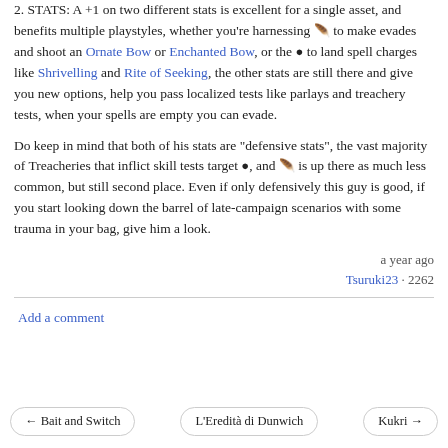2. STATS: A +1 on two different stats is excellent for a single asset, and benefits multiple playstyles, whether you're harnessing 🪶 to make evades and shoot an Ornate Bow or Enchanted Bow, or the ● to land spell charges like Shrivelling and Rite of Seeking, the other stats are still there and give you new options, help you pass localized tests like parlays and treachery tests, when your spells are empty you can evade.
Do keep in mind that both of his stats are "defensive stats", the vast majority of Treacheries that inflict skill tests target ●, and 🪶 is up there as much less common, but still second place. Even if only defensively this guy is good, if you start looking down the barrel of late-campaign scenarios with some trauma in your bag, give him a look.
a year ago
Tsuruki23 · 2262
Add a comment
← Bait and Switch
L'Eredità di Dunwich
Kukri →